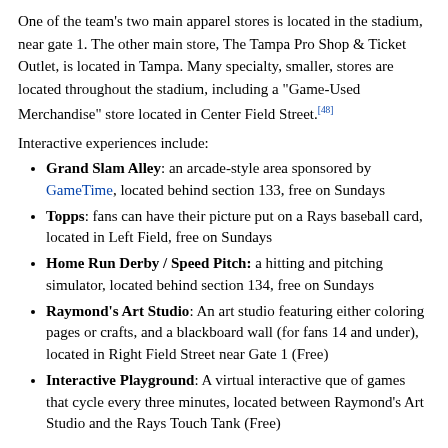One of the team's two main apparel stores is located in the stadium, near gate 1. The other main store, The Tampa Pro Shop & Ticket Outlet, is located in Tampa. Many specialty, smaller, stores are located throughout the stadium, including a "Game-Used Merchandise" store located in Center Field Street.[48]
Interactive experiences include:
Grand Slam Alley: an arcade-style area sponsored by GameTime, located behind section 133, free on Sundays
Topps: fans can have their picture put on a Rays baseball card, located in Left Field, free on Sundays
Home Run Derby / Speed Pitch: a hitting and pitching simulator, located behind section 134, free on Sundays
Raymond's Art Studio: An art studio featuring either coloring pages or crafts, and a blackboard wall (for fans 14 and under), located in Right Field Street near Gate 1 (Free)
Interactive Playground: A virtual interactive que of games that cycle every three minutes, located between Raymond's Art Studio and the Rays Touch Tank (Free)
The Rays Touch Tank
Just over the right-center field fence is the Rays Touch Tank. This